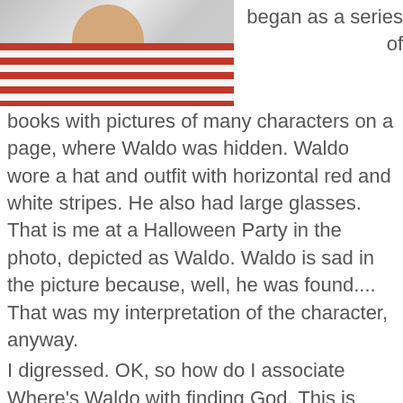[Figure (photo): Photo of a person dressed as Waldo at a Halloween party, wearing red and white horizontal striped shirt and necklace]
began as a series of books with pictures of many characters on a page, where Waldo was hidden. Waldo wore a hat and outfit with horizontal red and white stripes. He also had large glasses. That is me at a Halloween Party in the photo, depicted as Waldo. Waldo is sad in the picture because, well, he was found.... That was my interpretation of the character, anyway.
I digressed. OK, so how do I associate Where's Waldo with finding God. This is where you might find how strange/unique my mind is and works. Here we go. If you are presented with a picture from Where's Waldo, and you do not really look in the picture to find him, most likely, you will never see Waldo. It takes an effort to find Waldo. For most Where's Waldo fans, they often said,